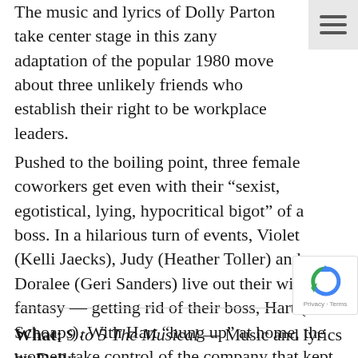The music and lyrics of Dolly Parton take center stage in this zany adaptation of the popular 1980 move about three unlikely friends who establish their right to be workplace leaders.
Pushed to the boiling point, three female coworkers get even with their “sexist, egotistical, lying, hypocritical bigot” of a boss. In a hilarious turn of events, Violet (Kelli Jaecks), Judy (Heather Toller) and Doralee (Geri Sanders) live out their wildest fantasy — getting rid of their boss, Hart (Ed Schoaps). With Hart “hung up” at home, the women take control of the company that kept them down and give their workplace a modern makeover that treats women as equals to men.
What: 9 to 5 The Musical — Music and lyrics by Dolly